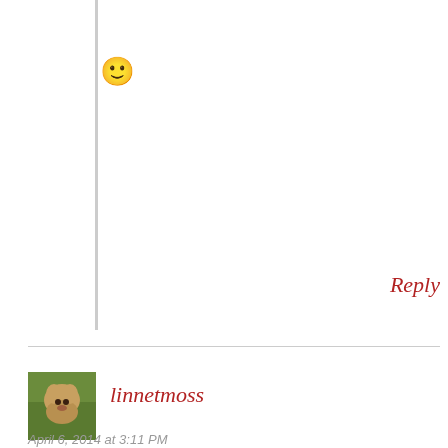🙂
Reply
linnetmoss
April 6, 2014 at 3:11 PM
Poor hound. But I've always had a sneaking suspicion that dogs don't mind eau de skunk that much. After all, I know a poodle-lab mix who will